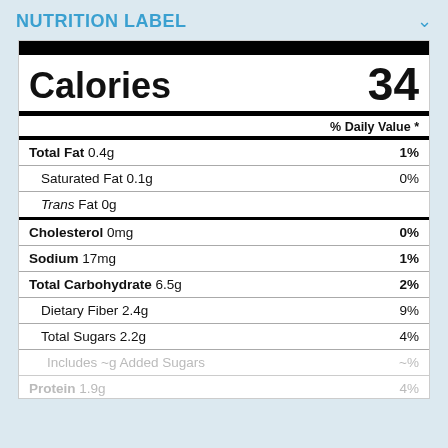NUTRITION LABEL
| Nutrient | % Daily Value |
| --- | --- |
| Calories | 34 |
| Total Fat 0.4g | 1% |
| Saturated Fat 0.1g | 0% |
| Trans Fat 0g |  |
| Cholesterol 0mg | 0% |
| Sodium 17mg | 1% |
| Total Carbohydrate 6.5g | 2% |
| Dietary Fiber 2.4g | 9% |
| Total Sugars 2.2g | 4% |
| Includes ~g Added Sugars | ~% |
| Protein 1.9g | 4% |